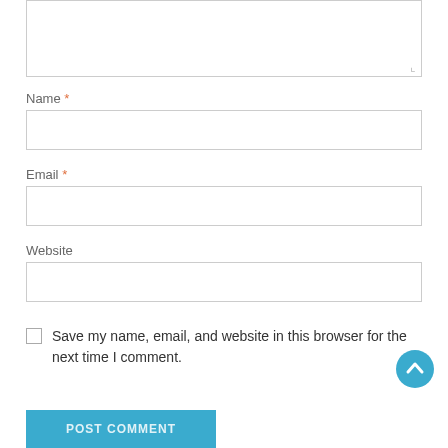[Figure (screenshot): Textarea input box (empty)]
Name *
[Figure (screenshot): Name text input field (empty)]
Email *
[Figure (screenshot): Email text input field (empty)]
Website
[Figure (screenshot): Website text input field (empty)]
Save my name, email, and website in this browser for the next time I comment.
[Figure (other): Blue circular scroll-to-top arrow button]
[Figure (screenshot): POST COMMENT button (blue)]